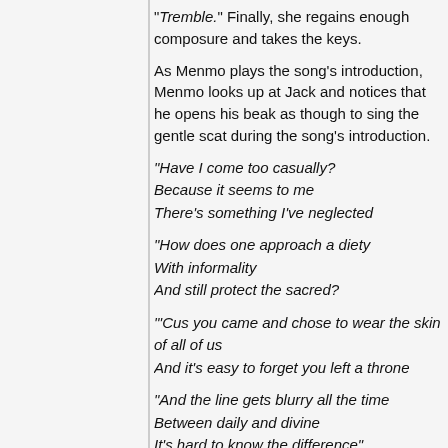"Tremble." Finally, she regains enough composure and takes the keys.
As Menmo plays the song's introduction, Menmo looks up at Jack and notices that he opens his beak as though to sing the gentle scat during the song's introduction.
"Have I come too casually?
Because it seems to me
There's something I've neglected
"How does one approach a diety
With informality
And still protect the sacred?
'Cus you came and chose to wear the skin of all of us
And it's easy to forget you left a throne
"And the line gets blurry all the time
Between daily and divine
It's hard to know the difference"